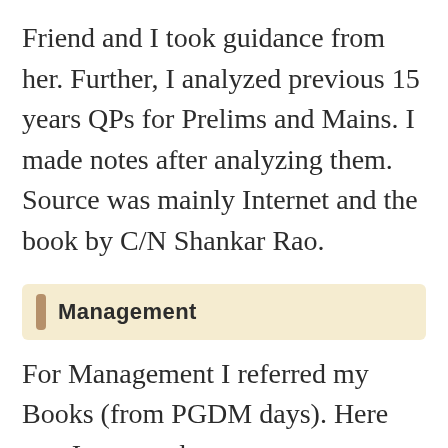Friend and I took guidance from her. Further, I analyzed previous 15 years QPs for Prelims and Mains. I made notes after analyzing them. Source was mainly Internet and the book by C/N Shankar Rao.
Management
For Management I referred my Books (from PGDM days). Here too, I prepared notes.
For 2010 Exam (which I did not take) General